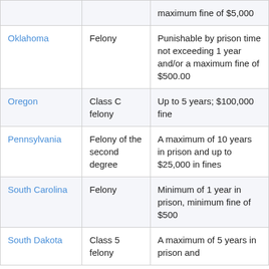| State | Classification | Penalty |
| --- | --- | --- |
|  |  | maximum fine of $5,000 |
| Oklahoma | Felony | Punishable by prison time not exceeding 1 year and/or a maximum fine of $500.00 |
| Oregon | Class C felony | Up to 5 years; $100,000 fine |
| Pennsylvania | Felony of the second degree | A maximum of 10 years in prison and up to $25,000 in fines |
| South Carolina | Felony | Minimum of 1 year in prison, minimum fine of $500 |
| South Dakota | Class 5 felony | A maximum of 5 years in prison and... |